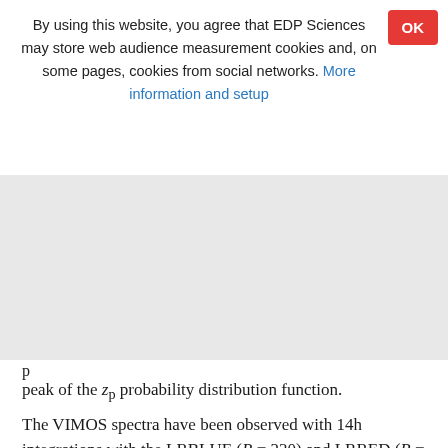By using this website, you agree that EDP Sciences may store web audience measurement cookies and, on some pages, cookies from social networks. More information and setup
peak of the z_p probability distribution function.
The VIMOS spectra have been observed with 14h integrations with the LRBLUE (R = 230) and LRRED (R = 230) grisms, covering a combined wavelength